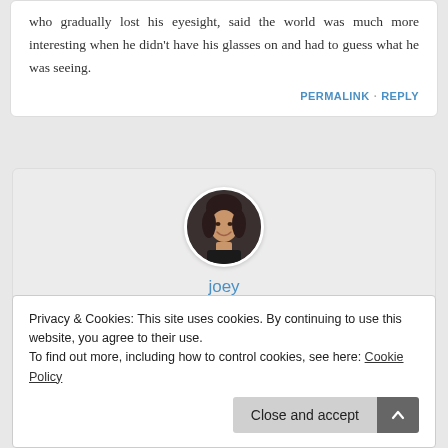who gradually lost his eyesight, said the world was much more interesting when he didn't have his glasses on and had to guess what he was seeing.
PERMALINK · REPLY
[Figure (photo): Circular avatar photo of a person named joey, dark background with smiling woman]
joey
SEPTEMBER 19, 2018 AT 8:18PM
Privacy & Cookies: This site uses cookies. By continuing to use this website, you agree to their use.
To find out more, including how to control cookies, see here: Cookie Policy
Close and accept